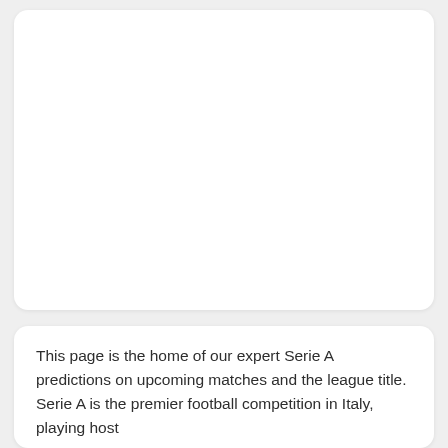[Figure (other): White card placeholder image area (blank white rectangle with rounded corners)]
This page is the home of our expert Serie A predictions on upcoming matches and the league title. Serie A is the premier football competition in Italy, playing host